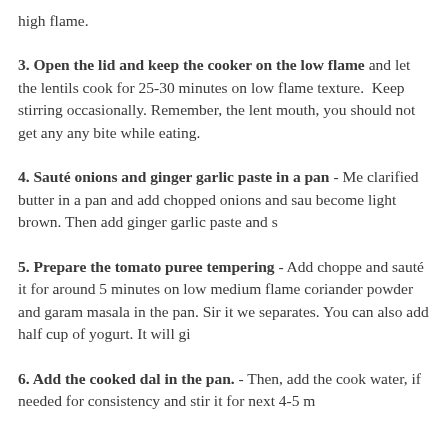high flame.
3. Open the lid and keep the cooker on the low flame and let the lentils cook for 25-30 minutes on low flame texture. Keep stirring occasionally. Remember, the lent mouth, you should not get any any bite while eating.
4. Sauté onions and ginger garlic paste in a pan - Me clarified butter in a pan and add chopped onions and sau become light brown. Then add ginger garlic paste and s
5. Prepare the tomato puree tempering - Add choppe and sauté it for around 5 minutes on low medium flame coriander powder and garam masala in the pan. Sir it we separates. You can also add half cup of yogurt. It will gi
6. Add the cooked dal in the pan. - Then, add the cook water, if needed for consistency and stir it for next 4-5 m